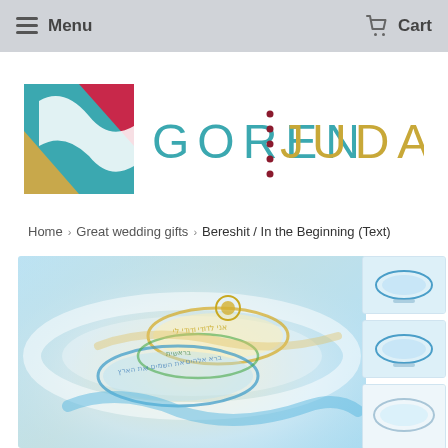Menu   Cart
[Figure (logo): Goren Judaica logo with decorative square icon on left and text 'GOREN JUDAICA' with dotted vertical divider]
Home › Great wedding gifts › Bereshit / In the Beginning (Text)
[Figure (photo): Main product image showing artistic wedding rings with Hebrew text inscriptions floating in blue and gold light swirls]
[Figure (photo): Thumbnail 1: small product view with blue background]
[Figure (photo): Thumbnail 2: small product view with blue background]
[Figure (photo): Thumbnail 3: partial view]